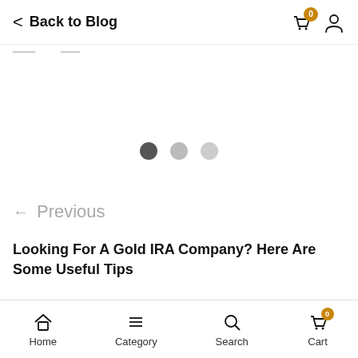Back to Blog
[Figure (other): Carousel dots indicator with three dots: one dark active dot and two lighter inactive dots]
← Previous
Looking For A Gold IRA Company? Here Are Some Useful Tips
Next →
Home  Category  Search  Cart